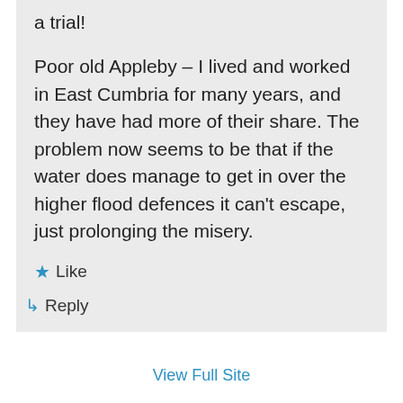a trial!
Poor old Appleby – I lived and worked in East Cumbria for many years, and they have had more of their share. The problem now seems to be that if the water does manage to get in over the higher flood defences it can't escape, just prolonging the misery.
★ Like
↳ Reply
View Full Site